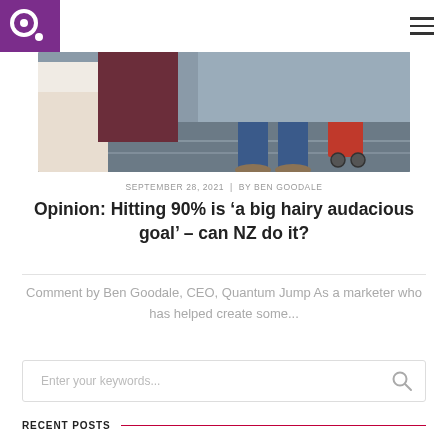Quantum Jump logo and navigation
[Figure (photo): Street scene showing people walking; one person pulling a red wheeled bag, others standing in foreground]
SEPTEMBER 28, 2021  |  BY BEN GOODALE
Opinion: Hitting 90% is ‘a big hairy audacious goal’ – can NZ do it?
Comment by Ben Goodale, CEO, Quantum Jump As a marketer who has helped create some...
Enter your keywords...
RECENT POSTS